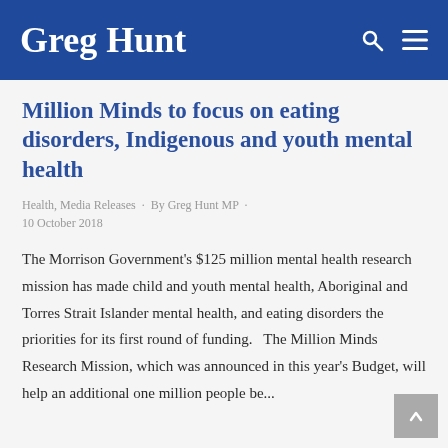Greg Hunt
Million Minds to focus on eating disorders, Indigenous and youth mental health
Health, Media Releases · By Greg Hunt MP · 10 October 2018
The Morrison Government's $125 million mental health research mission has made child and youth mental health, Aboriginal and Torres Strait Islander mental health, and eating disorders the priorities for its first round of funding.   The Million Minds Research Mission, which was announced in this year's Budget, will help an additional one million people be...